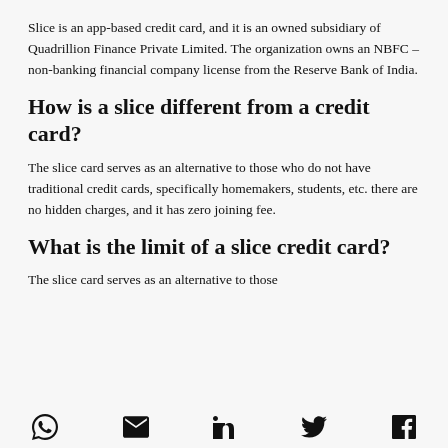Slice is an app-based credit card, and it is an owned subsidiary of Quadrillion Finance Private Limited. The organization owns an NBFC – non-banking financial company license from the Reserve Bank of India.
How is a slice different from a credit card?
The slice card serves as an alternative to those who do not have traditional credit cards, specifically homemakers, students, etc. there are no hidden charges, and it has zero joining fee.
What is the limit of a slice credit card?
The slice card serves as an alternative to those
WhatsApp | Email | LinkedIn | Twitter | Facebook